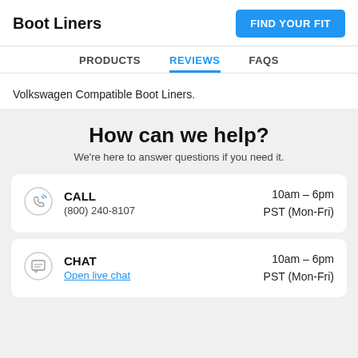Boot Liners
[Figure (other): Blue 'FIND YOUR FIT' button in top right corner]
PRODUCTS | REVIEWS | FAQS (navigation tabs, REVIEWS active/selected)
Volkswagen Compatible Boot Liners.
How can we help?
We're here to answer questions if you need it.
CALL
(800) 240-8107
10am – 6pm
PST (Mon-Fri)
CHAT
Open live chat
10am – 6pm
PST (Mon-Fri)